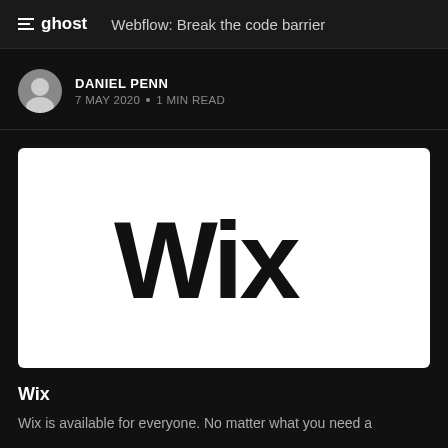ghost  Webflow: Break the code barrier
DANIEL PENN
7 MAY 2020 • 1 MIN READ
[Figure (logo): Wix logo on white background — large black 'Wix' wordmark centered on a white rectangular card]
Wix
Wix is available for everyone. No matter what you need a